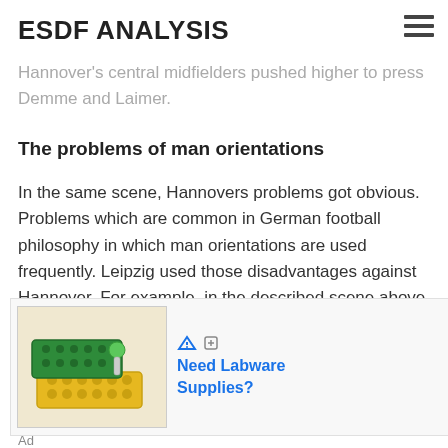ESDF ANALYSIS
followed them man-oriented, could press the centre back into the middle because Hannover's central midfielders pushed higher to press Demme and Laimer.
The problems of man orientations
In the same scene, Hannovers problems got obvious. Problems which are common in German football philosophy in which man orientations are used frequently. Leipzig used those disadvantages against Hannover. For example, in the described scene above, Upamecano dribbles with the ball into the six- space. Jonathas who should pressure Upamecano moved out of his space because of the side warts movement
[Figure (photo): Advertisement showing green and yellow labware/tube rack supplies]
Ad